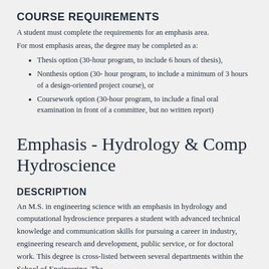COURSE REQUIREMENTS
A student must complete the requirements for an emphasis area. For most emphasis areas, the degree may be completed as a:
Thesis option (30-hour program, to include 6 hours of thesis),
Nonthesis option (30- hour program, to include a minimum of 3 hours of a design-oriented project course), or
Coursework option (30-hour program, to include a final oral examination in front of a committee, but no written report)
Emphasis - Hydrology & Comp Hydroscience
DESCRIPTION
An M.S. in engineering science with an emphasis in hydrology and computational hydroscience prepares a student with advanced technical knowledge and communication skills for pursuing a career in industry, engineering research and development, public service, or for doctoral work. This degree is cross-listed between several departments within the School of Engineering. The